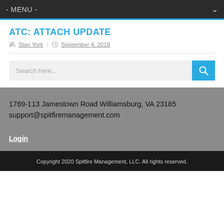- MENU -
ATC: ATTACH UPDATE
Stan York | September 4, 2018
[Figure (screenshot): Search input field with placeholder text 'Search here...' and a blue search button with magnifying glass icon]
1769-113 Jamestown Road Williamsburg, VA 23185 support@spitfiremanagement.com
Login
Copyright 2020 Spitfire Management, LLC. All rights reserved.